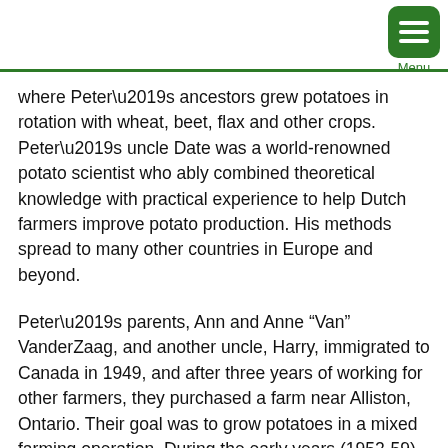Menu
where Peter’s ancestors grew potatoes in rotation with wheat, beet, flax and other crops. Peter’s uncle Date was a world-renowned potato scientist who ably combined theoretical knowledge with practical experience to help Dutch farmers improve potato production. His methods spread to many other countries in Europe and beyond.
Peter’s parents, Ann and Anne “Van” VanderZaag, and another uncle, Harry, immigrated to Canada in 1949, and after three years of working for other farmers, they purchased a farm near Alliston, Ontario. Their goal was to grow potatoes in a mixed farming operation. During the early years (1952-59), the VanderZaags grew potatoes for the fresh market. Most of the crop was sold straight out of the field at harvest. In 1959, the first potato storage was built; it held 5000 cwt and allowed potatoes